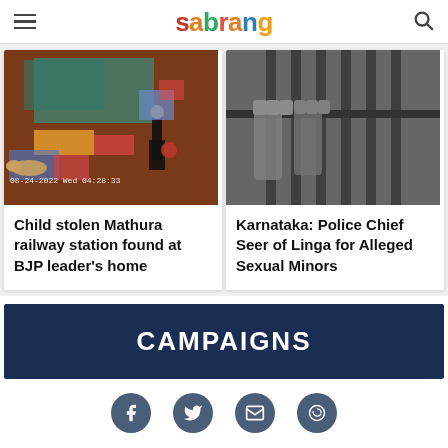sabrang
[Figure (photo): CCTV footage still image showing people on ground and a standing figure, timestamp 08-24-2022 Wed 04:28:33]
Child stolen Mathura railway station found at BJP leader’s home
[Figure (photo): Black and white photo of hands gripping prison bars]
Karnataka: Police Chief Seer of Linga for Alleged Sexual Minors
CAMPAIGNS
[Figure (infographic): Social media share icons: Facebook, Twitter, Email, WhatsApp]